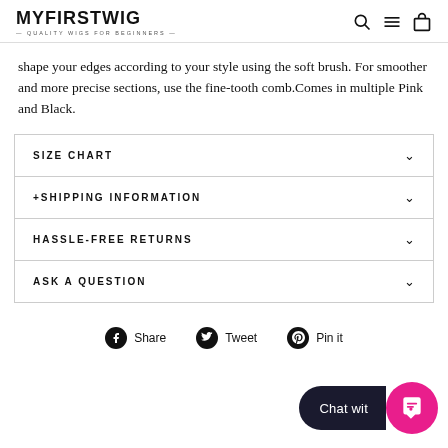MYFIRSTWIG — QUALITY WIGS FOR BEGINNERS —
shape your edges according to your style using the soft brush. For smoother and more precise sections, use the fine-tooth comb.Comes in multiple Pink and Black.
| SIZE CHART |  |
| + SHIPPING INFORMATION |  |
| HASSLE-FREE RETURNS |  |
| ASK A QUESTION |  |
Share  Tweet  Pin it
Chat wit